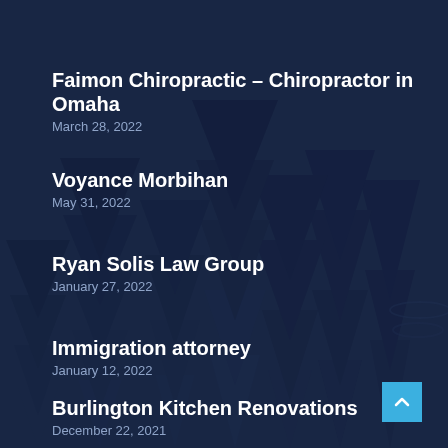[Figure (illustration): Dark navy blue forest background with silhouetted pine/fir trees]
Faimon Chiropractic – Chiropractor in Omaha
March 28, 2022
Voyance Morbihan
May 31, 2022
Ryan Solis Law Group
January 27, 2022
Immigration attorney
January 12, 2022
Burlington Kitchen Renovations
December 22, 2021